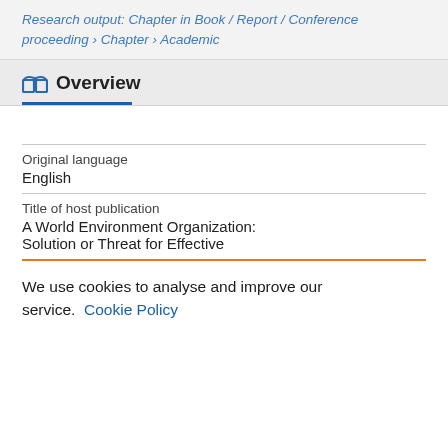Research output: Chapter in Book / Report / Conference proceeding › Chapter › Academic
Overview
| Field | Value |
| --- | --- |
| Original language | English |
| Title of host publication | A World Environment Organization: Solution or Threat for Effective |
We use cookies to analyse and improve our service. Cookie Policy